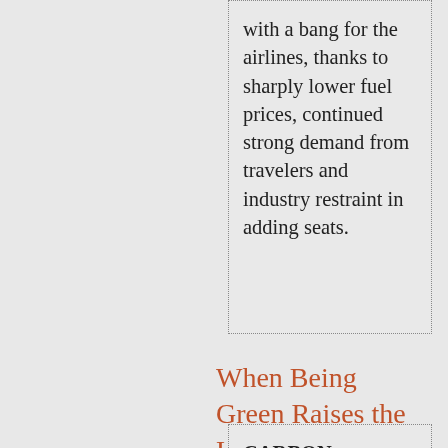with a bang for the airlines, thanks to sharply lower fuel prices, continued strong demand from travelers and industry restraint in adding seats.
When Being Green Raises the Heat
CARBON DIOXIDE is heating up the Earth. Ice